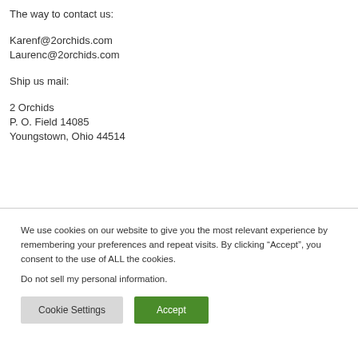The way to contact us:
Karenf@2orchids.com
Laurenc@2orchids.com
Ship us mail:
2 Orchids
P. O. Field 14085
Youngstown, Ohio 44514
We use cookies on our website to give you the most relevant experience by remembering your preferences and repeat visits. By clicking “Accept”, you consent to the use of ALL the cookies.
Do not sell my personal information.